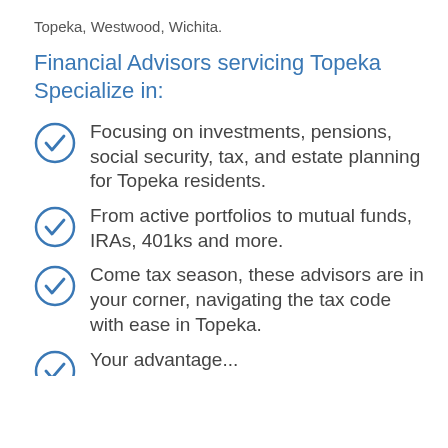Topeka, Westwood, Wichita.
Financial Advisors servicing Topeka Specialize in:
Focusing on investments, pensions, social security, tax, and estate planning for Topeka residents.
From active portfolios to mutual funds, IRAs, 401ks and more.
Come tax season, these advisors are in your corner, navigating the tax code with ease in Topeka.
Your advantage...